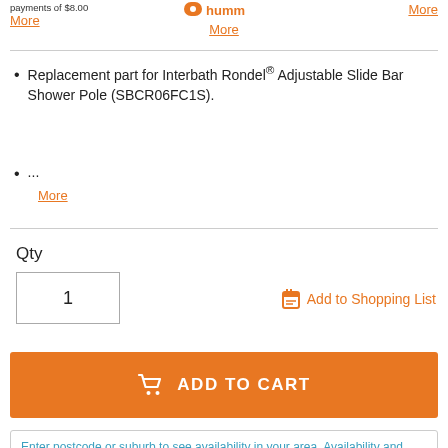payments of $8.00
More
[Figure (logo): Humm payment logo]
More
More
Replacement part for Interbath Rondel® Adjustable Slide Bar Shower Pole (SBCR06FC1S).
...
More
Qty
1
Add to Shopping List
ADD TO CART
Enter postcode or suburb to see availability in your area. Availability and pricing may vary from store to store and